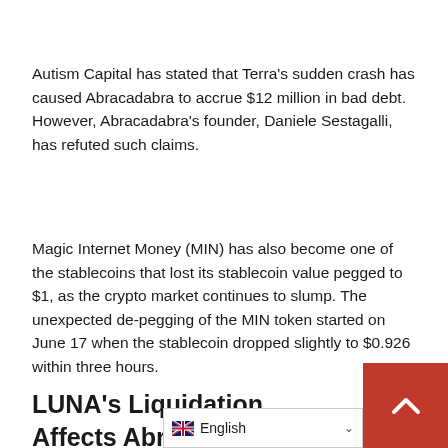Autism Capital has stated that Terra's sudden crash has caused Abracadabra to accrue $12 million in bad debt. However, Abracadabra's founder, Daniele Sestagalli, has refuted such claims.
Magic Internet Money (MIN) has also become one of the stablecoins that lost its stablecoin value pegged to $1, as the crypto market continues to slump. The unexpected de-pegging of the MIN token started on June 17 when the stablecoin dropped slightly to $0.926 within three hours.
LUNA's Liquidation Affects Abracadabra Ar...